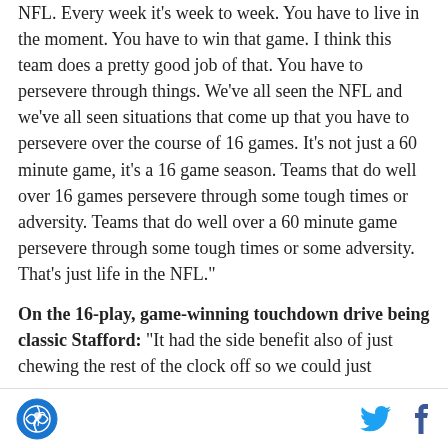NFL. Every week it's week to week. You have to live in the moment. You have to win that game. I think this team does a pretty good job of that. You have to persevere through things. We've all seen the NFL and we've all seen situations that come up that you have to persevere over the course of 16 games. It's not just a 60 minute game, it's a 16 game season. Teams that do well over 16 games persevere through some tough times or adversity. Teams that do well over a 60 minute game persevere through some tough times or some adversity. That's just life in the NFL."
On the 16-play, game-winning touchdown drive being classic Stafford: "It had the side benefit also of just chewing the rest of the clock off so we could just
[SB Nation logo] [Twitter icon] [Facebook icon]